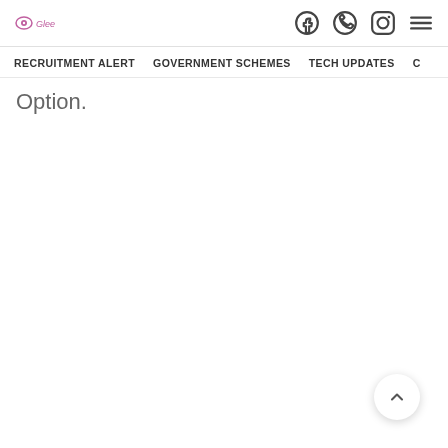Logo | Social icons (Facebook, WhatsApp, Instagram) | Menu
RECRUITMENT ALERT | GOVERNMENT SCHEMES | TECH UPDATES | (more)
Option.